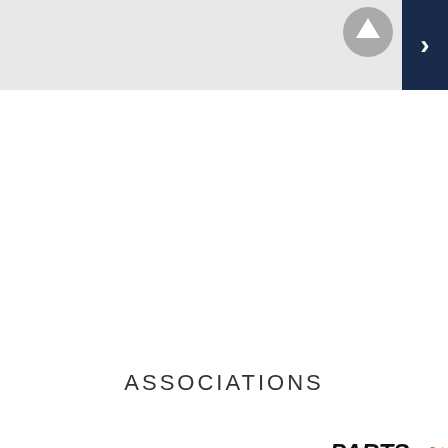[Figure (screenshot): Top navigation area with gray background and dark blue right-arrow button]
Up
ASSOCIATIONS
[Figure (logo): IDENTIFIX - FIND AND FIX FASTER. a Solera company logo]
[Figure (logo): Parts Plus logo with orange swoosh]
X
TAP TO CALL NOW
330-764-3274
TESTIMONIALS